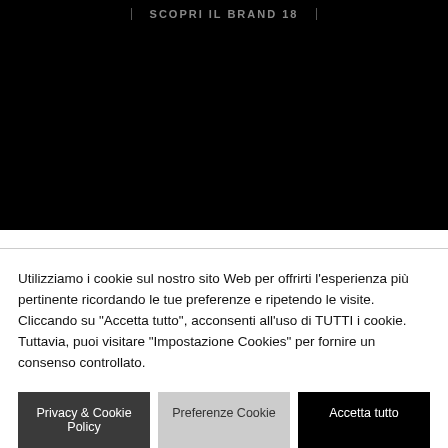[Figure (screenshot): Black background section with 'SCOPRI IL BRAND 18' label centered at top with vertical bar borders on each side]
Utilizziamo i cookie sul nostro sito Web per offrirti l'esperienza più pertinente ricordando le tue preferenze e ripetendo le visite. Cliccando su "Accetta tutto", acconsenti all'uso di TUTTI i cookie. Tuttavia, puoi visitare "Impostazione Cookies" per fornire un consenso controllato.
Privacy & Cookie Policy
Preferenze Cookie
Accetta tutto